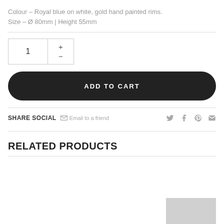Colour – Royal blue on white, gold hand painted rims.
Size – Ø 80mm | Height 55mm
1
ADD TO CART
SHARE SOCIAL  Email to a friend
RELATED PRODUCTS
[Figure (photo): Partial thumbnail of a related product, gray background]